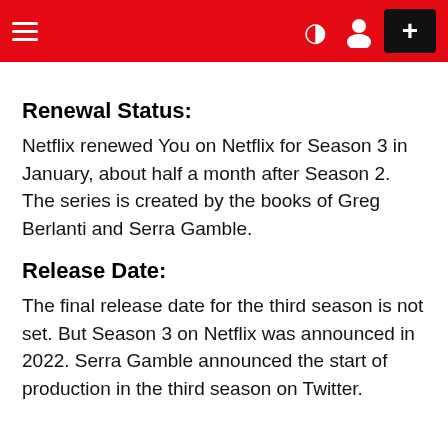≡  ☽ 👤 +
Renewal Status:
Netflix renewed You on Netflix for Season 3 in January, about half a month after Season 2. The series is created by the books of Greg Berlanti and Serra Gamble.
Release Date:
The final release date for the third season is not set. But Season 3 on Netflix was announced in 2022. Serra Gamble announced the start of production in the third season on Twitter.